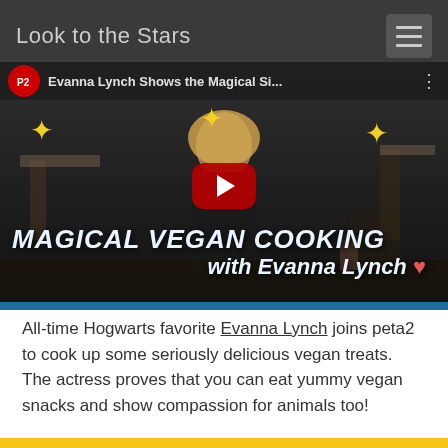Look to the Stars
[Figure (screenshot): YouTube video thumbnail showing Evanna Lynch on a cooking show titled 'Magical Vegan Cooking with Evanna Lynch'. The video title bar reads 'Evanna Lynch Shows the Magical Si...' with a red play button overlay in the center. Yellow stars decorate the background. The bottom has a blue border.]
All-time Hogwarts favorite Evanna Lynch joins peta2 to cook up some seriously delicious vegan treats. The actress proves that you can eat yummy vegan snacks and show compassion for animals too!
This video was featured in the following story:
Harry Potter Star Turns Hogwarts Recipes Vegan